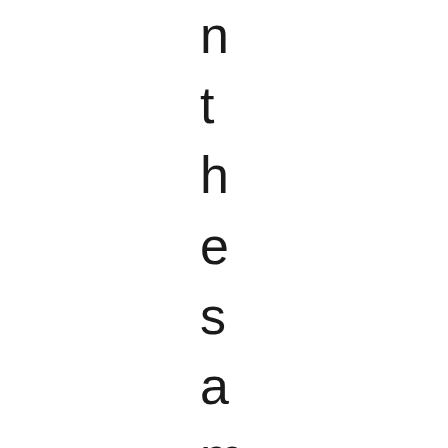n
t
h
e
s
a
m
e
r
o
o
m
.
A
t
t